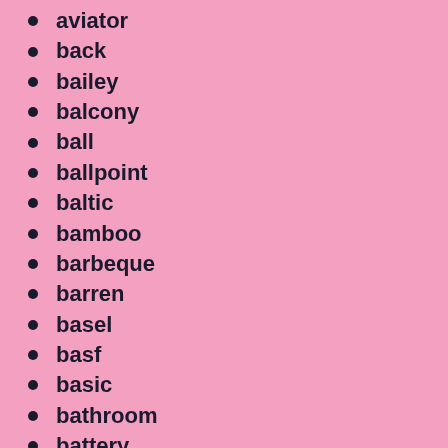aviator
back
bailey
balcony
ball
ballpoint
baltic
bamboo
barbeque
barren
basel
basf
basic
bathroom
battery
bauhaus
beko
belinger
belt